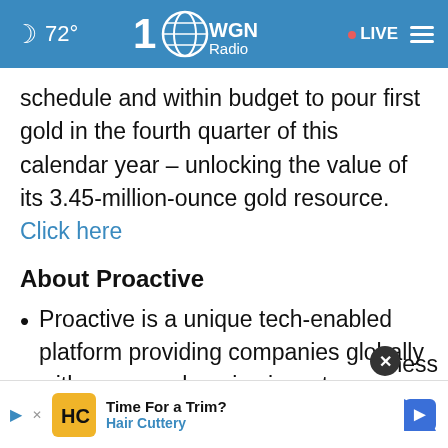72° WGN Radio • LIVE
schedule and within budget to pour first gold in the fourth quarter of this calendar year – unlocking the value of its 3.45-million-ounce gold resource. Click here
About Proactive
Proactive is a unique tech-enabled platform providing companies globally with a comprehensive investor
ness